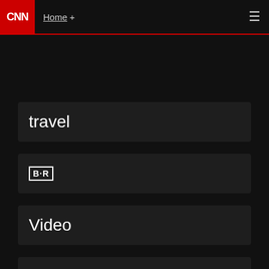CNN Home +
travel
B·R
Video
Coupons
VR new
M